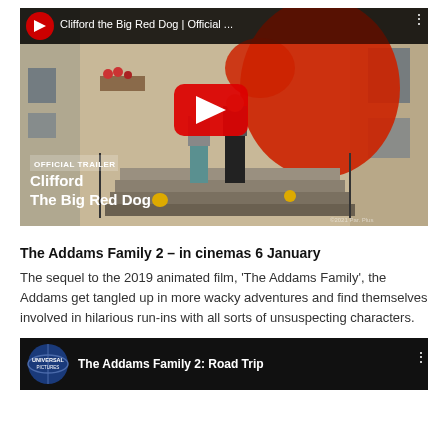[Figure (screenshot): YouTube video thumbnail for 'Clifford the Big Red Dog | Official Trailer' showing a scene with two people on stairs outside a building, large red dog visible, with YouTube play button overlay and 'OFFICIAL TRAILER' badge.]
The Addams Family 2 – in cinemas 6 January
The sequel to the 2019 animated film, 'The Addams Family', the Addams get tangled up in more wacky adventures and find themselves involved in hilarious run-ins with all sorts of unsuspecting characters.
[Figure (screenshot): YouTube video thumbnail for 'The Addams Family 2: Road Trip' showing Universal Pictures logo icon on left and partial title text on dark background.]